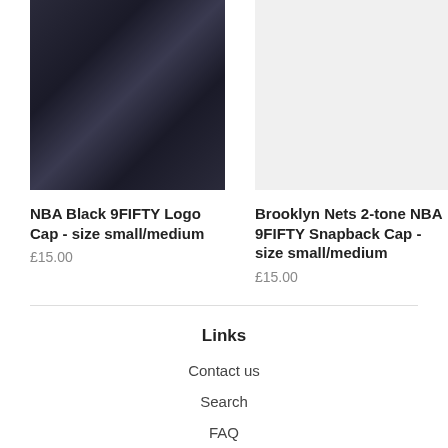[Figure (photo): NBA black cap with New Era logo on a light surface]
NBA Black 9FIFTY Logo Cap - size small/medium
£15.00
[Figure (photo): Brooklyn Nets 2-tone NBA 9FIFTY Snapback Cap placeholder image (light gray)]
Brooklyn Nets 2-tone NBA 9FIFTY Snapback Cap - size small/medium
£15.00
Links
Contact us
Search
FAQ